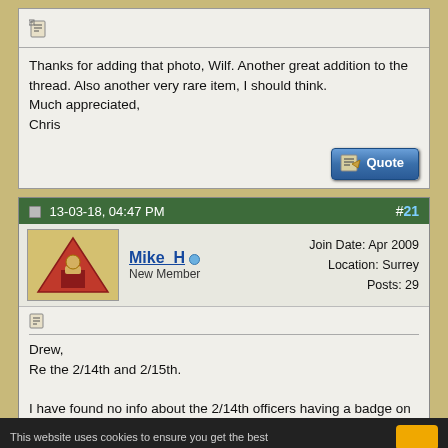Thanks for adding that photo, Wilf. Another great addition to the thread. Also another very rare item, I should think.
Much appreciated,
Chris
[Figure (screenshot): Quote button with notepad icon]
13-03-18, 04:47 PM   #21
[Figure (photo): User avatar with red triangle logo on tan background]
Mike_H  New Member  Join Date: Apr 2009  Location: Surrey  Posts: 29
Drew,
Re the 2/14th and 2/15th.

I have found no info about the 2/14th officers having a badge on the back of their tunics and Robson's 1960 book, 'The Uniform of the London Scottish 1859-1919' makes no mention of one.

The 2/15th officers wore a 2" diameter Tudor rose in blue and silver grey on the back of the tunic from June 1916 when they went to France but this was discontinued when the battalion went to Salonika in November 1916. (Info from the IWM 1919 uniform questionnaires in the IWM library)
This website uses cookies to ensure you get the best